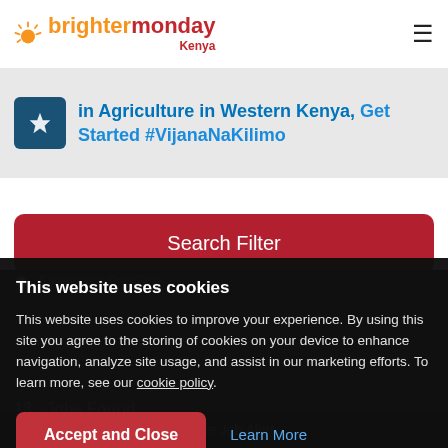[Figure (logo): BrighterMonday Kenya logo with sun icon]
in Agriculture in Western Kenya, Get Started #VijanaNaKilimo
Search Filter
Home / Education / Part-Time
This website uses cookies
This website uses cookies to improve your experience. By using this site you agree to the storing of cookies on your device to enhance navigation, analyze site usage, and assist in our marketing efforts. To learn more, see our cookie policy.
Accept and Close
Learn More
13  Jobs Found
Create Job Alert